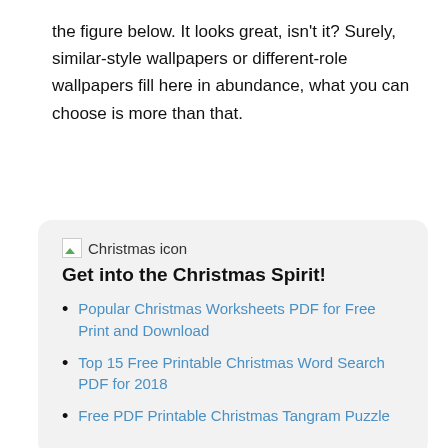the figure below. It looks great, isn't it? Surely, similar-style wallpapers or different-role wallpapers fill here in abundance, what you can choose is more than that.
[Figure (illustration): Broken image placeholder icon labeled 'Christmas icon']
Get into the Christmas Spirit!
Popular Christmas Worksheets PDF for Free Print and Download
Top 15 Free Printable Christmas Word Search PDF for 2018
Free PDF Printable Christmas Tangram Puzzle